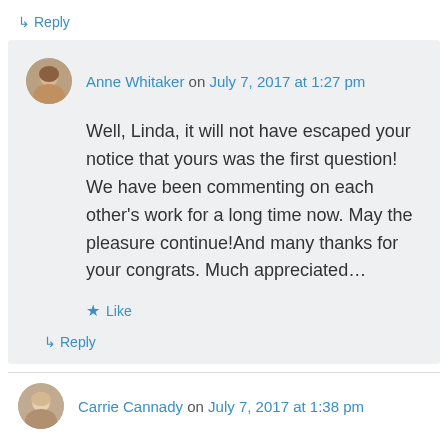↳ Reply
Anne Whitaker on July 7, 2017 at 1:27 pm
Well, Linda, it will not have escaped your notice that yours was the first question! We have been commenting on each other's work for a long time now. May the pleasure continue!And many thanks for your congrats. Much appreciated…
★ Like
↳ Reply
Carrie Cannady on July 7, 2017 at 1:38 pm